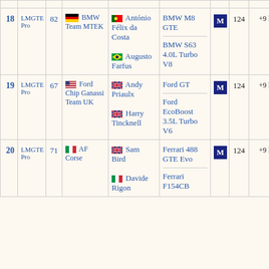| Pos | Class | No | Team | Drivers | Car | Tyre | Laps | Gap |
| --- | --- | --- | --- | --- | --- | --- | --- | --- |
| 18 | LMGTE Pro | 82 | 🇩🇪 BMW Team MTEK | 🇵🇹 António Félix da Costa
🇧🇷 Augusto Farfus | BMW M8 GTE
BMW S63 4.0L Turbo V8 | M | 124 | +9 laps |
| 19 | LMGTE Pro | 67 | 🇺🇸 Ford Chip Ganassi Team UK | 🇬🇧 Andy Priaulx
🇬🇧 Harry Tincknell | Ford GT
Ford EcoBoost 3.5L Turbo V6 | M | 124 | +9 laps |
| 20 | LMGTE Pro | 71 | 🇮🇹 AF Corse | 🇬🇧 Sam Bird
🇮🇹 Davide Rigon | Ferrari 488 GTE Evo
Ferrari F154CB | M | 124 | +9 laps |